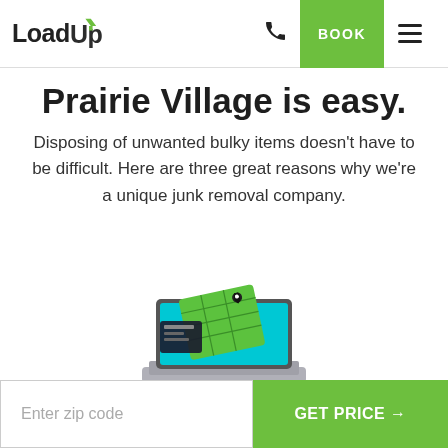LoadUp | BOOK
Prairie Village is easy.
Disposing of unwanted bulky items doesn't have to be difficult. Here are three great reasons why we're a unique junk removal company.
[Figure (illustration): Laptop computer with green app/map interface floating above the screen, illustration style]
Enter zip code | GET PRICE →